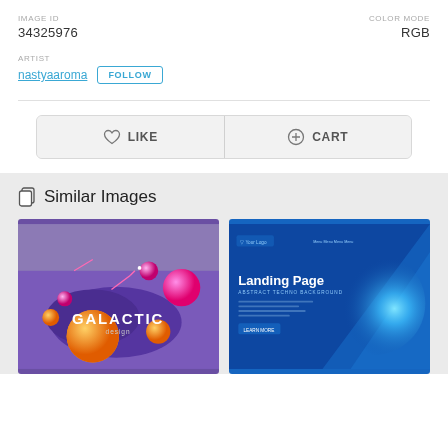IMAGE ID
34325976
COLOR MODE
RGB
ARTIST
nastyaaroma  FOLLOW
[Figure (screenshot): LIKE and CART action button bar]
Similar Images
[Figure (illustration): Galactic design illustration with purple background, pink and orange spheres, and GALACTIC design text]
[Figure (screenshot): Landing Page website screenshot with blue background and bright light effect]